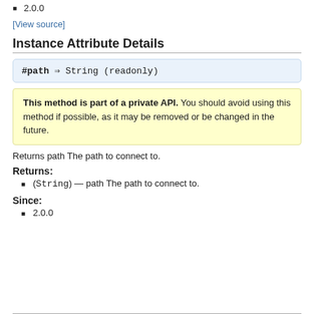2.0.0
[View source]
Instance Attribute Details
#path ⇒ String (readonly)
This method is part of a private API. You should avoid using this method if possible, as it may be removed or be changed in the future.
Returns path The path to connect to.
Returns:
(String) — path The path to connect to.
Since:
2.0.0